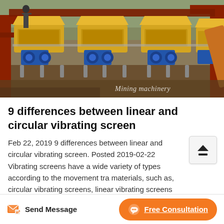[Figure (photo): Industrial vibrating screen machines (yellow and blue) arranged in a row at an outdoor mining or construction site. Multiple units visible with motors attached. Watermark reads 'Mining machinery' in italic text at bottom right.]
9 differences between linear and circular vibrating screen
Feb 22, 2019 9 differences between linear and circular vibrating screen. Posted 2019-02-22 Vibrating screens have a wide variety of types according to the movement tra materials, such as, circular vibrating screens, linear vibrating screens and fine screening machine, and these three are the most commonly used types in daily production.